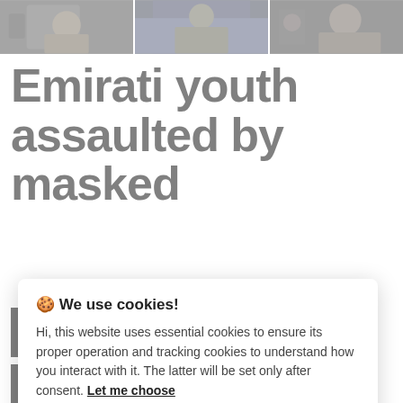[Figure (photo): A horizontal photo strip showing three partial images of people, appearing to be screenshots from a video.]
Emirati youth assaulted by masked
🍪 We use cookies!
Hi, this website uses essential cookies to ensure its proper operation and tracking cookies to understand how you interact with it. The latter will be set only after consent. Let me choose
Accept all
Reject all